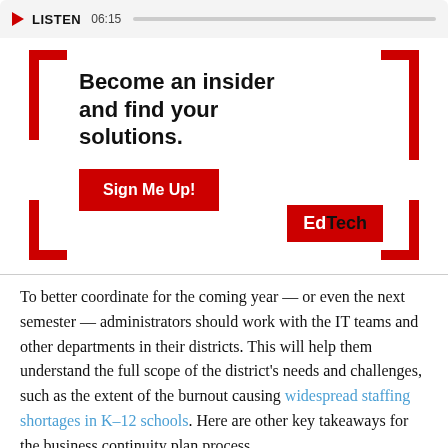LISTEN 06:15
[Figure (infographic): EdTech advertisement banner with bracket corners. Headline: 'Become an insider and find your solutions.' Red 'Sign Me Up!' button. EdTech logo bottom right.]
To better coordinate for the coming year — or even the next semester — administrators should work with the IT teams and other departments in their districts. This will help them understand the full scope of the district's needs and challenges, such as the extent of the burnout causing widespread staffing shortages in K–12 schools. Here are other key takeaways for the business continuity plan process.